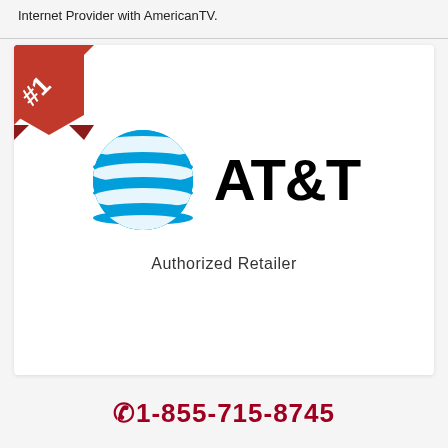Internet Provider with AmericanTV.
[Figure (logo): AT&T Authorized Retailer logo with #1 ribbon badge in top-left corner. Features AT&T globe icon in blue and the text AT&T in bold black, with Authorized Retailer underneath.]
1-855-715-8745